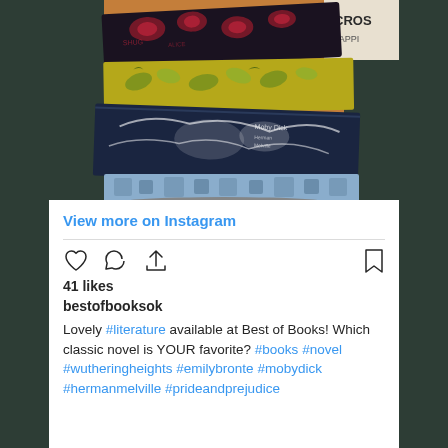[Figure (photo): A stack of decorative hardcover classic books on a wooden surface. The top book has a dark red/black floral cover, the middle book has a yellow/green botanical pattern cover, and the bottom books have dark navy blue and light blue geometric/illustrated covers. Partial text 'CROSS' visible on a book in the background.]
View more on Instagram
41 likes
bestofbooksok
Lovely #literature available at Best of Books! Which classic novel is YOUR favorite? #books #novel #wutheringheights #emilybronte #mobydick #hermanmelville #prideandprejudice